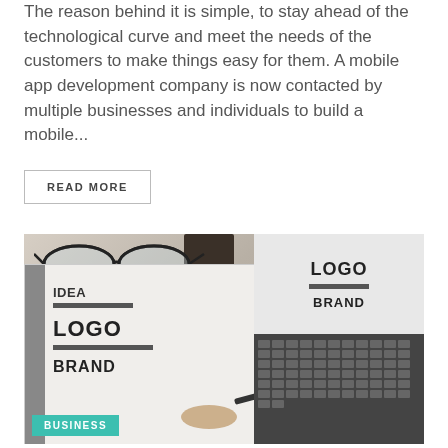The reason behind it is simple, to stay ahead of the technological curve and meet the needs of the customers to make things easy for them. A mobile app development company is now contacted by multiple businesses and individuals to build a mobile...
READ MORE
[Figure (photo): Photo of a branding/logo design notebook open on a desk with glasses and a coffee cup, alongside a laptop screen showing LOGO and BRAND text. A hand holds a pen over the notebook. A teal BUSINESS tag is in the bottom left corner.]